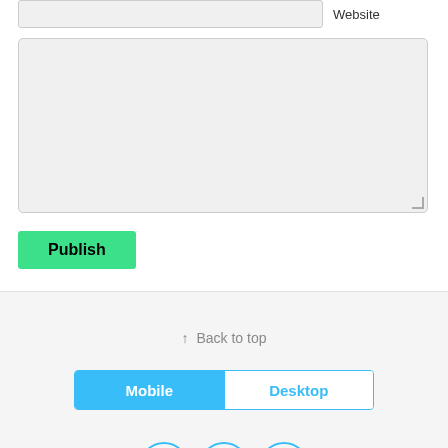[Figure (screenshot): Website input field (cropped at top) with label 'Website' to the right]
[Figure (screenshot): Large textarea input box with light gray background and resize handle at bottom-right]
Publish
[Figure (screenshot): Footer area with 'Back to top' link, Mobile/Desktop toggle bar, and three empty circles]
↑ Back to top
Mobile
Desktop